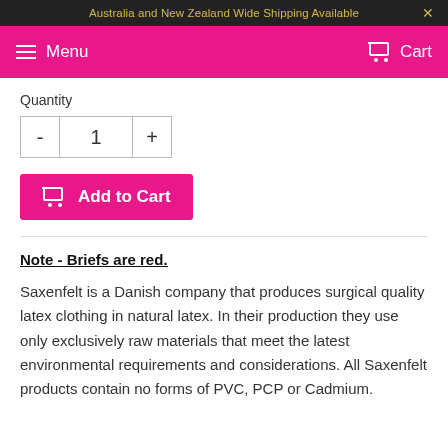Australia and New Zealand Wide Shipping Available
Menu   Cart
Quantity
- 1 +
Add to Cart
Note - Briefs are red.
Saxenfelt is a Danish company that produces surgical quality latex clothing in natural latex. In their production they use only exclusively raw materials that meet the latest environmental requirements and considerations. All Saxenfelt products contain no forms of PVC, PCP or Cadmium.